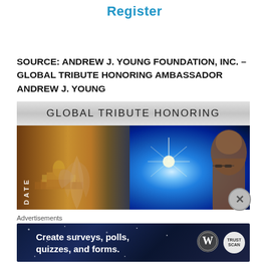Register
SOURCE:  ANDREW J. YOUNG FOUNDATION, INC. – GLOBAL TRIBUTE HONORING AMBASSADOR ANDREW J. YOUNG
[Figure (illustration): Banner image reading 'GLOBAL TRIBUTE HONORING' at the top on a silver/grey gradient bar, below which is a composite image: left side shows the Taj Mahal with a reaching hand in warm golden tones, with the word 'DATE' in vertical text; right side shows a blue space/earth image with a starburst light and a man's face (Ambassador Andrew J. Young) on the far right.]
Advertisements
[Figure (illustration): Advertisement banner with dark blue starfield background showing text 'Create surveys, polls, quizzes, and forms.' with WordPress logo and TrustScan badge on the right side.]